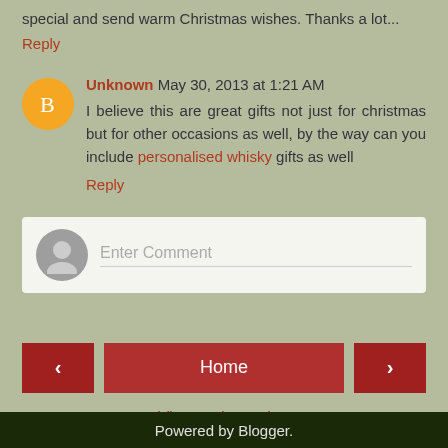special and send warm Christmas wishes. Thanks a lot...
Reply
Unknown May 30, 2013 at 1:21 AM
I believe this are great gifts not just for christmas but for other occasions as well, by the way can you include personalised whisky gifts as well
Reply
[Figure (other): Enter Comment input box with gray avatar]
Home
View web version
Powered by Blogger.